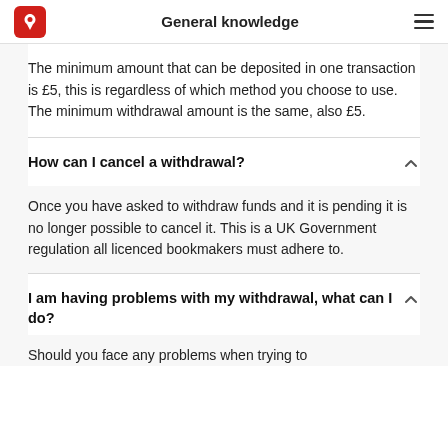General knowledge
The minimum amount that can be deposited in one transaction is £5, this is regardless of which method you choose to use. The minimum withdrawal amount is the same, also £5.
How can I cancel a withdrawal?
Once you have asked to withdraw funds and it is pending it is no longer possible to cancel it. This is a UK Government regulation all licenced bookmakers must adhere to.
I am having problems with my withdrawal, what can I do?
Should you face any problems when trying to